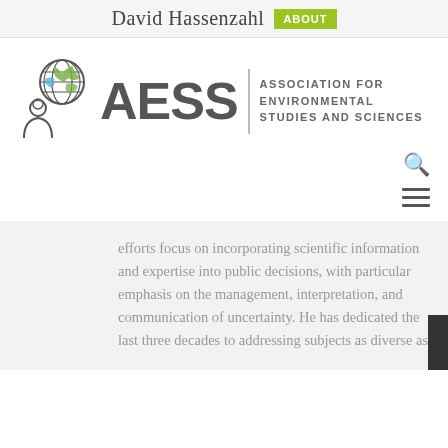David Hassenzahl ABOUT
[Figure (logo): AESS - Association for Environmental Studies and Sciences logo with globe and person silhouette icon]
efforts focus on incorporating scientific information and expertise into public decisions, with particular emphasis on the management, interpretation, and communication of uncertainty. He has dedicated the last three decades to addressing subjects as diverse as